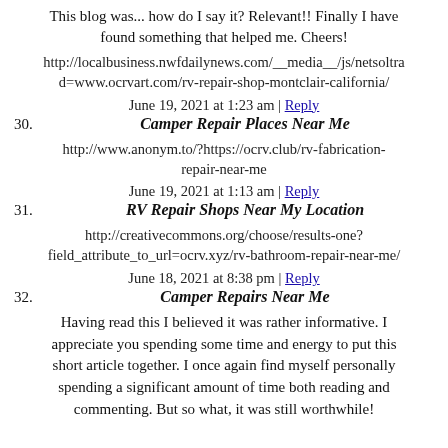This blog was... how do I say it? Relevant!! Finally I have found something that helped me. Cheers!
http://localbusiness.nwfdailynews.com/__media__/js/netsoltrad=www.ocrvart.com/rv-repair-shop-montclair-california/
June 19, 2021 at 1:23 am | Reply
30. Camper Repair Places Near Me
http://www.anonym.to/?https://ocrv.club/rv-fabrication-repair-near-me
June 19, 2021 at 1:13 am | Reply
31. RV Repair Shops Near My Location
http://creativecommons.org/choose/results-one?field_attribute_to_url=ocrv.xyz/rv-bathroom-repair-near-me/
June 18, 2021 at 8:38 pm | Reply
32. Camper Repairs Near Me
Having read this I believed it was rather informative. I appreciate you spending some time and energy to put this short article together. I once again find myself personally spending a significant amount of time both reading and commenting. But so what, it was still worthwhile!